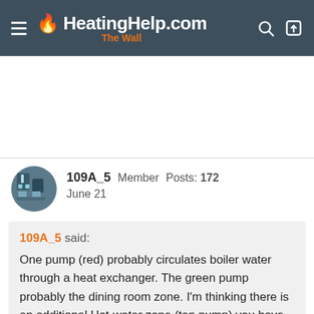HeatingHelp.com The Wall
[Figure (other): Advertisement area (blank white space)]
109A_5  Member  Posts: 172
June 21
109A_5 said:
One pump (red) probably circulates boiler water through a heat exchanger. The green pump probably the dining room zone. I'm thinking there is an additional Hot-water zone (tan pump) you have not mentioned, basement or garage maybe ? That accounts for the third (tan, far right) pump. Following the view from the source, that d...